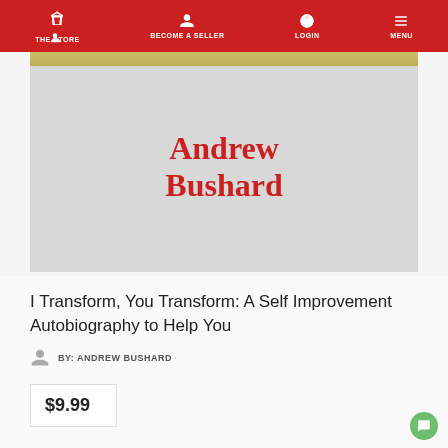THE STORE | BECOME A SELLER | LOGIN | MENU
[Figure (illustration): Book cover image showing 'Andrew Bushard' in large red serif text on a gray background with a decorative golden top bar]
I Transform, You Transform: A Self Improvement Autobiography to Help You
BY: ANDREW BUSHARD
$9.99